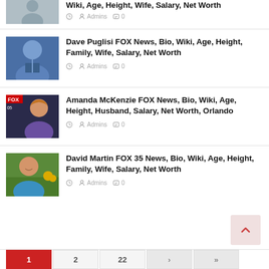Wiki, Age, Height, Wife, Salary, Net Worth
Admins  0
Dave Puglisi FOX News, Bio, Wiki, Age, Height, Family, Wife, Salary, Net Worth — Admins  0
Amanda McKenzie FOX News, Bio, Wiki, Age, Height, Husband, Salary, Net Worth, Orlando — Admins  0
David Martin FOX 35 News, Bio, Wiki, Age, Height, Family, Wife, Salary, Net Worth — Admins  0
1  2  22  ›  »